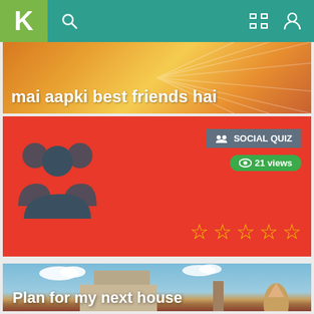[Figure (screenshot): Mobile app navigation bar with teal background, green K logo box on left, search icon, expand icon, and profile icon on right]
[Figure (screenshot): Partial card showing warm orange/golden radial burst background with white text 'mai aapki best friends hai']
mai aapki best friends hai
[Figure (screenshot): Red card with dark teal people group icon on left, Social Quiz badge top right, 21 views badge, and 5 empty star rating row]
[Figure (screenshot): Illustrated card showing underground building cross-section with rocket, car, sky and clouds background, text 'Plan for my next house']
Plan for my next house